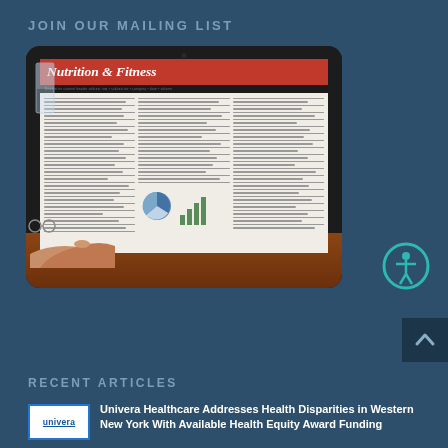JOIN OUR MAILING LIST
[Figure (photo): A tablet device displaying a Nutrition & Fitness newsletter, being pointed at by a hand. The tablet sits on a wooden table with a glass of water and glasses nearby.]
[Figure (illustration): Accessibility icon - person in circle with teal border]
[Figure (illustration): Back to top button - dark navy with upward arrow]
RECENT ARTICLES
[Figure (logo): Univera Healthcare logo - blue text on white background with underline]
Univera Healthcare Addresses Health Disparities in Western New York With Available Health Equity Award Funding